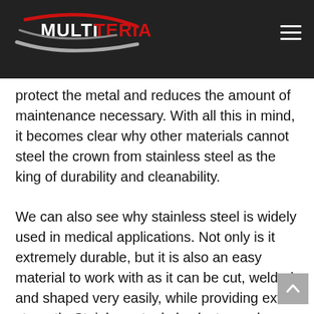MULTITERIA (logo with navigation)
protect the metal and reduces the amount of maintenance necessary. With all this in mind, it becomes clear why other materials cannot steel the crown from stainless steel as the king of durability and cleanability.
We can also see why stainless steel is widely used in medical applications. Not only is it extremely durable, but it is also an easy material to work with as it can be cut, welded, and shaped very easily, while providing extra strength. Stainless steel also lasts much longer than other materials and won't scratch and dent over time. This makes stainless steel an excellent investment that ensures easy cleaning and low maintenance for years to come